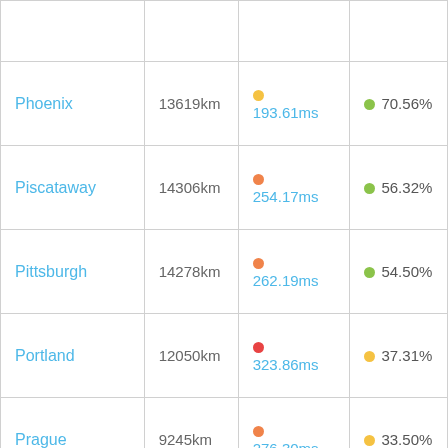| City | Distance | Latency | Score |
| --- | --- | --- | --- |
| Phoenix | 13619km | 193.61ms | 70.56% |
| Piscataway | 14306km | 254.17ms | 56.32% |
| Pittsburgh | 14278km | 262.19ms | 54.50% |
| Portland | 12050km | 323.86ms | 37.31% |
| Prague | 9245km | 276.30ms | 33.50% |